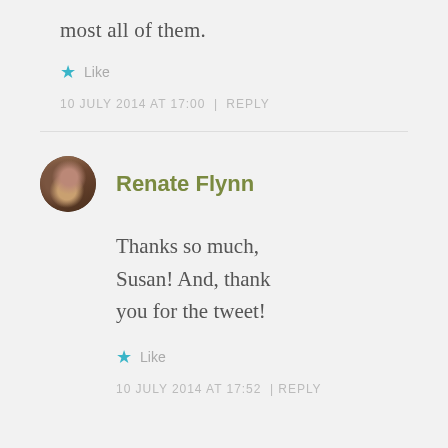most all of them.
★ Like
10 JULY 2014 AT 17:00 | REPLY
Renate Flynn
Thanks so much, Susan! And, thank you for the tweet!
★ Like
10 JULY 2014 AT 17:52 | REPLY